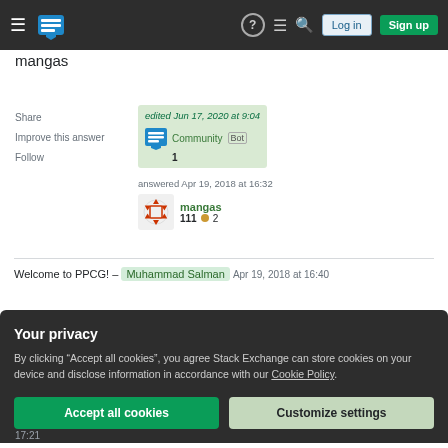mangas
Share   Improve this answer   Follow
edited Jun 17, 2020 at 9:04  Community Bot  1
answered Apr 19, 2018 at 16:32  mangas  111  2
Welcome to PPCG! – Muhammad Salman  Apr 19, 2018 at 16:40
Your privacy
By clicking "Accept all cookies", you agree Stack Exchange can store cookies on your device and disclose information in accordance with our Cookie Policy.
Accept all cookies   Customize settings